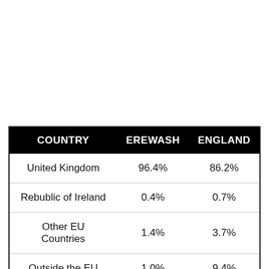| COUNTRY | EREWASH | ENGLAND |
| --- | --- | --- |
| United Kingdom | 96.4% | 86.2% |
| Rebublic of Ireland | 0.4% | 0.7% |
| Other EU Countries | 1.4% | 3.7% |
| Outside the EU | 1.0% | 9.4% |